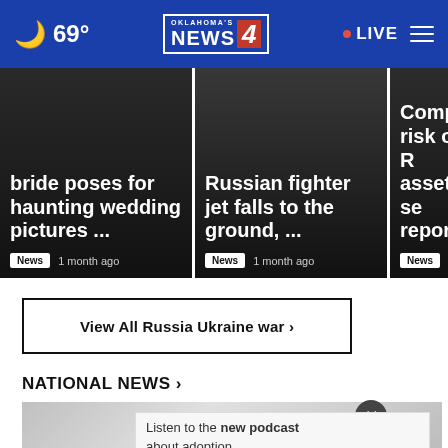69° Oklahoma's News 4 • LIVE
[Figure (screenshot): News card 1: bride poses for haunting wedding pictures ... News 1 month ago]
[Figure (screenshot): News card 2: Russian fighter jet falls to the ground, ... News 1 month ago]
[Figure (screenshot): News card 3: Compa[ny at] risk of [Russian] asset se[izure] report News]
View All Russia Ukraine war ›
NATIONAL NEWS ›
[Figure (photo): Grayscale photo strip at bottom of page showing building/structure]
Listen to the new podcast about adoption. Adopt US Kids ad